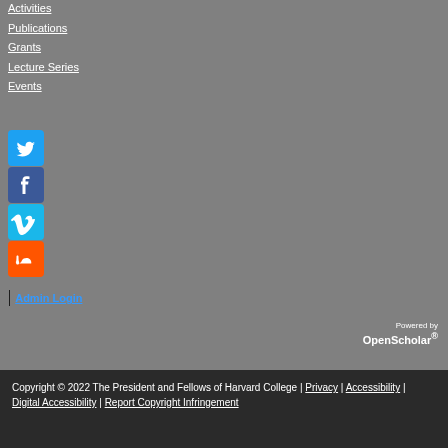Activities
Publications
Grants
Lecture Series
Events
[Figure (illustration): Social media icons: Twitter (blue), Facebook (blue), Vimeo (blue/teal), SoundCloud (orange)]
| Admin Login
Powered by OpenScholar®
Copyright © 2022 The President and Fellows of Harvard College | Privacy | Accessibility | Digital Accessibility | Report Copyright Infringement